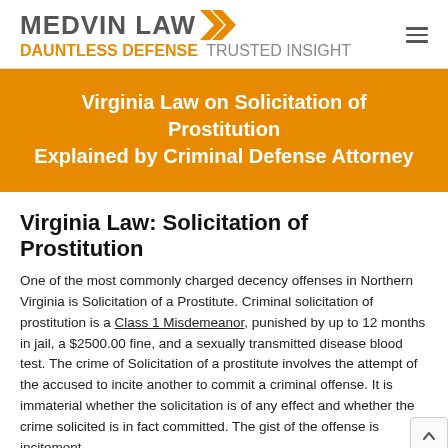MEDVIN LAW — DAUNTLESS DEFENSE TRUSTED INSIGHT
Virginia Law on Solicitation of Prostitution Explained by Criminal Defense Attorney
Virginia Law: Solicitation of Prostitution
One of the most commonly charged decency offenses in Northern Virginia is Solicitation of a Prostitute. Criminal solicitation of prostitution is a Class 1 Misdemeanor, punished by up to 12 months in jail, a $2500.00 fine, and a sexually transmitted disease blood test. The crime of Solicitation of a prostitute involves the attempt of the accused to incite another to commit a criminal offense. It is immaterial whether the solicitation is of any effect and whether the crime solicited is in fact committed. The gist of the offense is incitement.